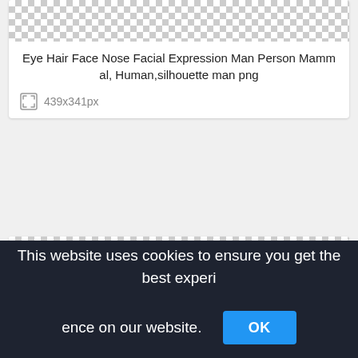[Figure (photo): Checkerboard transparent background preview area at top of image card]
Eye Hair Face Nose Facial Expression Man Person Mammal, Human,silhouette man png
439x341px
[Figure (photo): Checkerboard transparent background preview area for second image card]
This website uses cookies to ensure you get the best experience on our website.